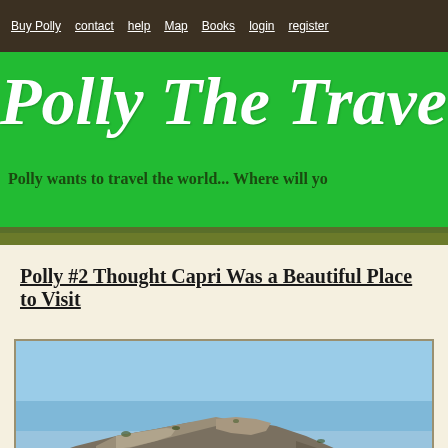Buy Polly | contact | help | Map | Books | login | register
Polly The Travel Fr...
Polly wants to travel the world... Where will yo...
Polly #2 Thought Capri Was a Beautiful Place to Visit
[Figure (photo): Photograph of Capri island showing rugged limestone cliffs and rocky coastline against a clear blue sky]